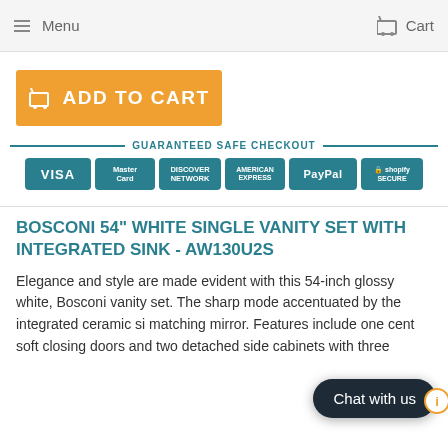Menu   Cart
[Figure (other): Orange ADD TO CART button with cart icon]
[Figure (other): Guaranteed SAFE Checkout banner with payment icons: VISA, MasterCard, Discover, American Express, PayPal, Shopify Secure]
BOSCONI 54" WHITE SINGLE VANITY SET WITH INTEGRATED SINK - AW130U2S
Elegance and style are made evident with this 54-inch glossy white, Bosconi vanity set. The sharp mode accentuated by the integrated ceramic si matching mirror. Features include one cent soft closing doors and two detached side cabinets with three